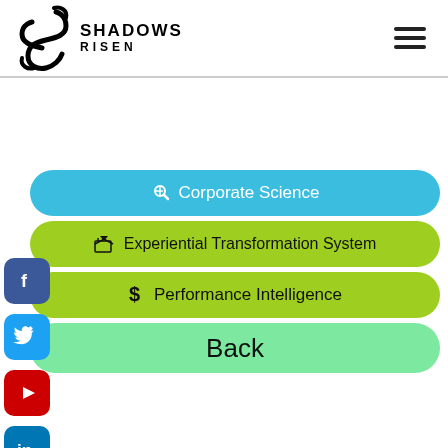[Figure (logo): Shadows Risen logo with stylized S mark and text SHADOWS RISEN]
[Figure (infographic): Navigation menu with Corporate Science (blue pill button with wrench icon), Experiential Transformation System (lime pill button with cart icon), Performance Intelligence (lime pill button with dollar icon), Back (light green pill button)]
[Figure (infographic): Social media icon buttons: Facebook, Twitter, YouTube, LinkedIn, RSS, Google+]